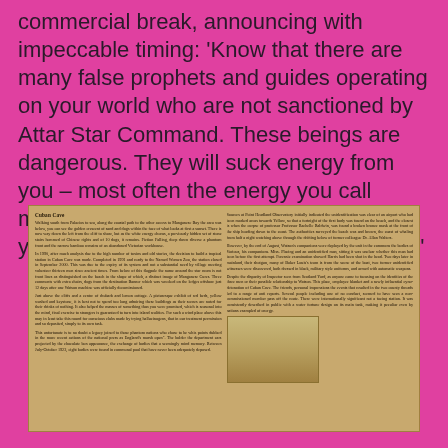commercial break, announcing with impeccable timing: 'Know that there are many false prophets and guides operating on your world who are not sanctioned by Attar Star Command. These beings are dangerous. They will suck energy from you – most often the energy you call money – and will put it to evil ends giving you nothing but worthless dross in return.'
[Figure (photo): A sepia-toned newspaper or book page with multiple columns of small text, showing what appears to be a news article with sections titled 'Cuban Cave' and other headings. A small photograph is visible in the lower right area of the newspaper page.]